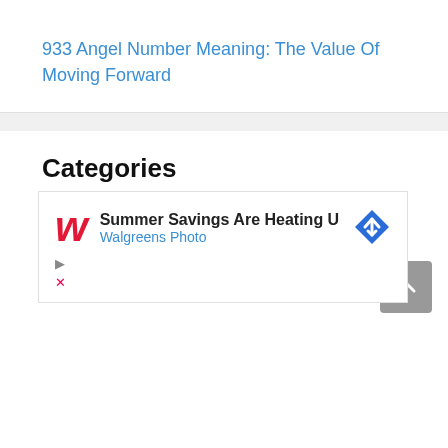933 Angel Number Meaning: The Value Of Moving Forward
Categories
Angel Numbers
Better Sleep
Dating
[Figure (other): Walgreens Photo advertisement banner: 'Summer Savings Are Heating U' with Walgreens red cursive W logo and blue diamond navigation icon]